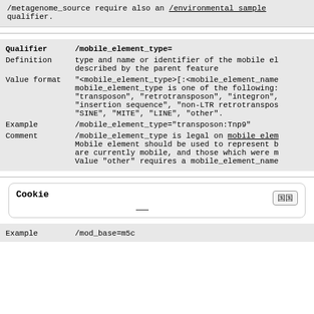/metagenome_source require also an /environmental sample qualifier.
| Qualifier | /mobile_element_type= |
| --- | --- |
| Definition | type and name or identifier of the mobile element described by the parent feature |
| Value format | "<mobile_element_type>[:<mobile_element_name> mobile_element_type is one of the following: "transposon", "retrotransposon", "integron", "insertion sequence", "non-LTR retrotransposon", "SINE", "MITE", "LINE", "other". |
| Example | /mobile_element_type="transposon:Tnp9" |
| Comment | /mobile_element_type is legal on mobile element. Mobile element should be used to represent b are currently mobile, and those which were m Value "other" requires a mobile_element_name |
Cookie
/mod_base=m5c